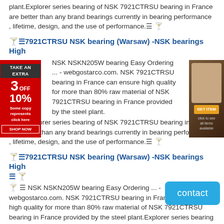plant.Explorer series bearing of NSK 7921CTRSU bearing in France are better than any brand bearings currently in bearing performance , lifetime, design, and the use of performance.☰🏆
🏆☰7921CTRSU NSK bearing (Warsaw) -NSK bearings High
NSK NSKN205W bearing Easy Ordering ... - webgostarco.com. NSK 7921CTRSU bearing in France can ensure high quality for more than 80% raw material of NSK 7921CTRSU bearing in France provided by the steel plant.Explorer series bearing of NSK 7921CTRSU bearing in France are better than any brand bearings currently in bearing performance , lifetime, design, and the use of performance.☰🏆
🏆☰7921CTRSU NSK bearing (Warsaw) -NSK bearings High ☰🏆
🏆 ☰ NSK NSKN205W bearing Easy Ordering ... - webgostarco.com. NSK 7921CTRSU bearing in France can ensure high quality for more than 80% raw material of NSK 7921CTRSU bearing in France provided by the steel plant.Explorer series bearing of NSK 7921CTRSU bearing in France are better than any brand bearings currently in bearing performance , lifetime, design, and the use of performance.☰🏆
🏆☰7921CTRSU NSK bearing - Trade Safer and 7921CTRSU .☰🏆